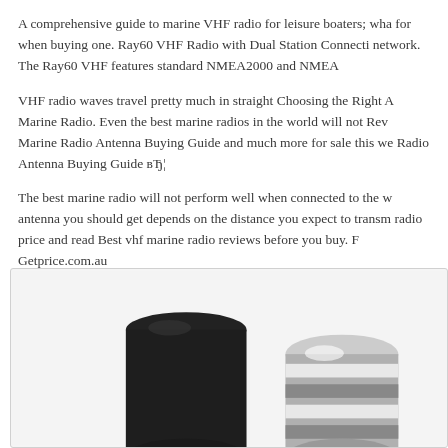A comprehensive guide to marine VHF radio for leisure boaters; wha for when buying one. Ray60 VHF Radio with Dual Station Connecti network. The Ray60 VHF features standard NMEA2000 and NMEA
VHF radio waves travel pretty much in straight Choosing the Right A Marine Radio. Even the best marine radios in the world will not Rev Marine Radio Antenna Buying Guide and much more for sale this w Radio Antenna Buying Guide вЂ¦
The best marine radio will not perform well when connected to the w antenna you should get depends on the distance you expect to transm radio price and read Best vhf marine radio reviews before you buy. F Getprice.com.au
[Figure (photo): Two marine VHF radio antennas shown at close range — one black rounded cap antenna on the left and one silver/chrome threaded antenna connector on the right, both photographed against a light grey background.]